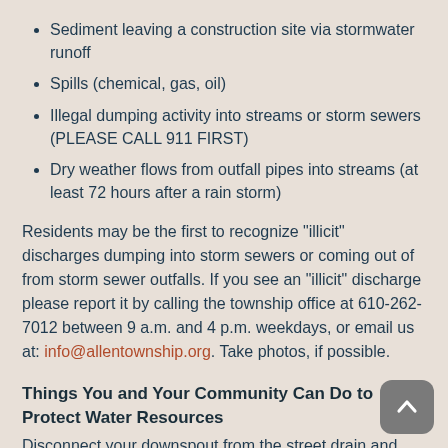Sediment leaving a construction site via stormwater runoff
Spills (chemical, gas, oil)
Illegal dumping activity into streams or storm sewers (PLEASE CALL 911 FIRST)
Dry weather flows from outfall pipes into streams (at least 72 hours after a rain storm)
Residents may be the first to recognize "illicit" discharges dumping into storm sewers or coming out of from storm sewer outfalls. If you see an "illicit" discharge please report it by calling the township office at 610-262-7012 between 9 a.m. and 4 p.m. weekdays, or email us at: info@allentownship.org. Take photos, if possible.
Things You and Your Community Can Do to Protect Water Resources
Disconnect your downspout from the street drain and Plant a Rain Garden.